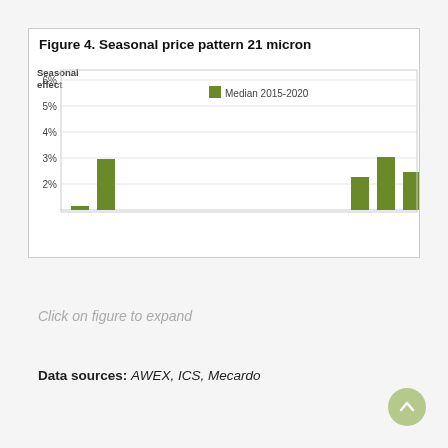[Figure (bar-chart): Figure 4. Seasonal price pattern 21 micron]
Click on figure to expand
Data sources:  AWEX, ICS, Mecardo